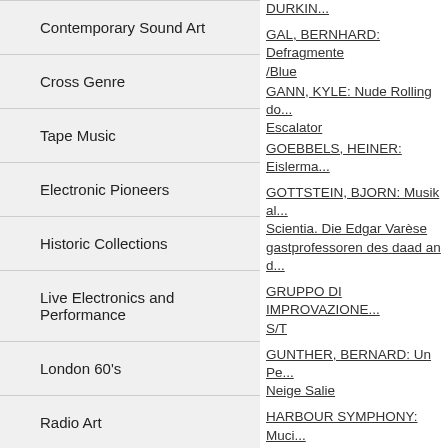Contemporary Sound Art
Cross Genre
Tape Music
Electronic Pioneers
Historic Collections
Live Electronics and Performance
London 60's
Radio Art
GAL, BERNHARD: Defragmente/Blue
GANN, KYLE: Nude Rolling down Escalator
GOEBBELS, HEINER: Eislerma...
GOTTSTEIN, BJORN: Musik al... Scientia. Die Edgar Varèse gastprofessoren des daad an d...
GRUPPO DI IMPROVAZIONE... S/T
GUNTHER, BERNARD: Un Pe... Neige Salie
HARBOUR SYMPHONY: Musi... Ships Horns
HESS, FELIX : One of the esse... Kehrer Soundart series.
HOPKIN, BART and Various Ar... Gravicords, Whirlies etc (book)
IOLINI, ROBERT: Songs from H...
JESIONKA, WARSZAWSKA: G... Hits
JULIUS, ROLF : S/T